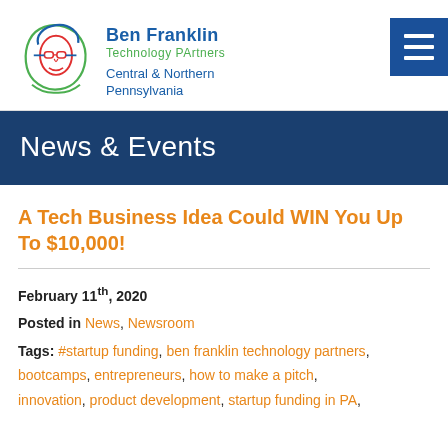[Figure (logo): Ben Franklin Technology Partners logo with stylized face icon, brand name, and tagline 'Central & Northern Pennsylvania']
News & Events
A Tech Business Idea Could WIN You Up To $10,000!
February 11th, 2020
Posted in News, Newsroom
Tags: #startup funding, ben franklin technology partners, bootcamps, entrepreneurs, how to make a pitch, innovation, product development, startup funding in PA,